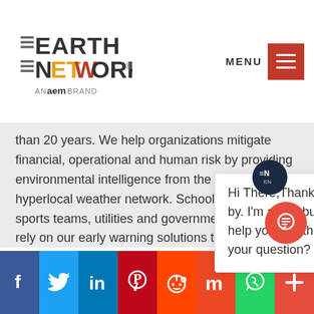Earth Networks - AN aem BRAND
than 20 years. We help organizations mitigate financial, operational and human risk by providing environmental intelligence from the world’s largest hyperlocal weather network. Schools, airports, sports teams, utilities and government agencies rely on our early warning solutions to safeguard and optimize operations. Con weather data to automate de business continuity and asse
[Figure (screenshot): Chat bot popup overlay with EN logo avatar and message: Hi There,Thanks for stopping by. I'm a bot, but maybe I can help you find the answer to your question?]
Contacts
Bluetext PR for Earth Networks
[Figure (infographic): Social media sharing bar with icons: Facebook (blue), Twitter (light blue), LinkedIn (dark blue), Pinterest (red), Reddit (orange-red), Stumbleupon (red), WhatsApp (green), More (orange-red)]